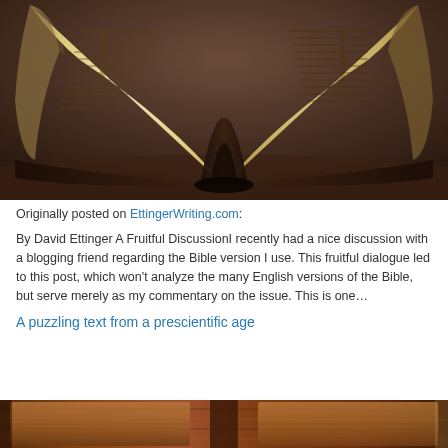[Figure (photo): A close-up photograph of an open old Bible with yellowed pages, viewed from the spine, showing text on both pages, against a dark background with a warm sepia tone.]
Originally posted on EttingerWriting.com:
By David Ettinger A Fruitful DiscussionI recently had a nice discussion with a blogging friend regarding the Bible version I use. This fruitful dialogue led to this post, which won't analyze the many English versions of the Bible, but serve merely as my commentary on the issue. This is one…
A puzzling text from a prescientific age
[Figure (photo): A partial view of a wooden cabinet or bookshelf in warm brown tones.]